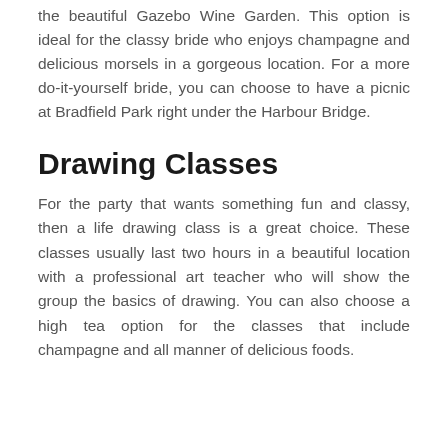the beautiful Gazebo Wine Garden. This option is ideal for the classy bride who enjoys champagne and delicious morsels in a gorgeous location. For a more do-it-yourself bride, you can choose to have a picnic at Bradfield Park right under the Harbour Bridge.
Drawing Classes
For the party that wants something fun and classy, then a life drawing class is a great choice. These classes usually last two hours in a beautiful location with a professional art teacher who will show the group the basics of drawing. You can also choose a high tea option for the classes that include champagne and all manner of delicious foods.